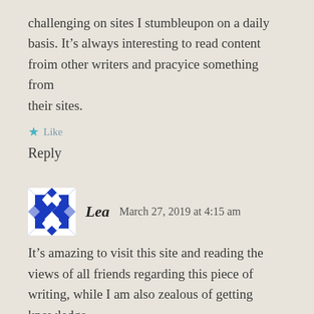challenging on sites I stumbleupon on a daily basis. It's always interesting to read content froim other writers and pracyice something from their sites.
★ Like
Reply
Lea   March 27, 2019 at 4:15 am
It's amazing to visit this site and reading the views of all friends regarding this piece of writing, while I am also zealous of getting knowledge.